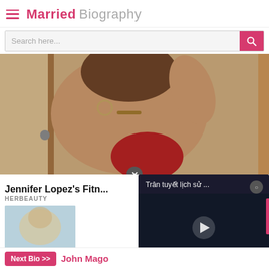Married Biography
[Figure (screenshot): Search bar with placeholder text 'Search here...' and pink search button]
[Figure (photo): Woman in red backless outfit posing in mirror selfie, fitness photo]
Jennifer Lopez's Fitness Secrets Revealed
HERBEAUTY
[Figure (photo): Small thumbnail photo below article title]
[Figure (screenshot): Video player overlay with dark background, text 'Trân tuyết lịch sử ...' and play button]
Next Bio >> John Mago